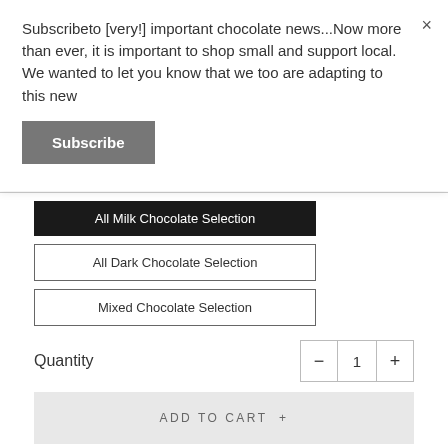Subscribeto [very!] important chocolate news...Now more than ever, it is important to shop small and support local. We wanted to let you know that we too are adapting to this new
Subscribe
All Milk Chocolate Selection
All Dark Chocolate Selection
Mixed Chocolate Selection
Quantity
ADD TO CART +
Pickup available at Rousseau Chocolatier -